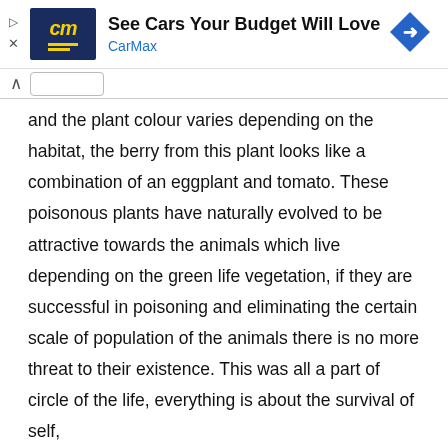[Figure (screenshot): CarMax advertisement banner with logo, headline 'See Cars Your Budget Will Love', brand name 'CarMax' in blue, and a blue diamond navigation icon. Play and close controls on the left.]
and the plant colour varies depending on the habitat, the berry from this plant looks like a combination of an eggplant and tomato. These poisonous plants have naturally evolved to be attractive towards the animals which live depending on the green life vegetation, if they are successful in poisoning and eliminating the certain scale of population of the animals there is no more threat to their existence. This was all a part of circle of the life, everything is about the survival of self,